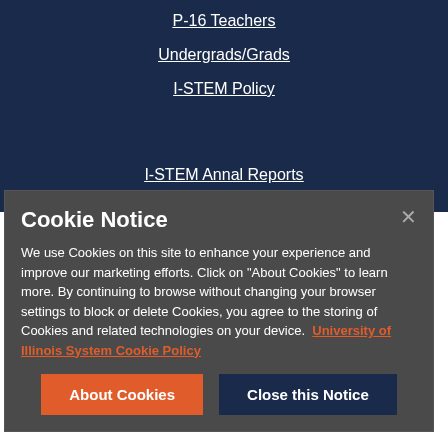P-16 Teachers
Undergrads/Grads
I-STEM Policy
I-STEM Annal Reports
Cookie Notice
We use Cookies on this site to enhance your experience and improve our marketing efforts. Click on "About Cookies" to learn more. By continuing to browse without changing your browser settings to block or delete Cookies, you agree to the storing of Cookies and related technologies on your device. University of Illinois System Cookie Policy
About Cookies
Close this Notice